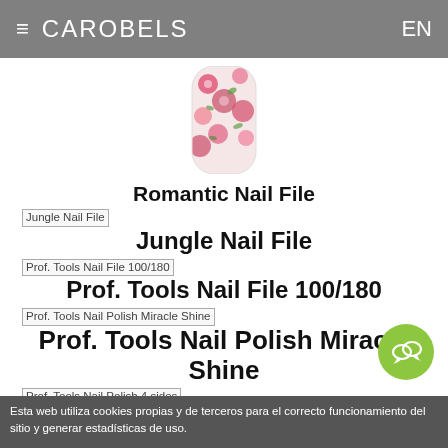≡ CAROBELS  EN
[Figure (photo): Partial view of a decorative nail file with floral/strawberry pattern, pink and red colors, visible at the top of the page]
Romantic Nail File
[Figure (photo): Thumbnail image placeholder for Jungle Nail File]
Jungle Nail File
[Figure (photo): Thumbnail image placeholder for Prof. Tools Nail File 100/180]
Prof. Tools Nail File 100/180
[Figure (photo): Thumbnail image placeholder for Prof. Tools Nail Polish Miracle Shine]
Prof. Tools Nail Polish Miracle Shine
[Figure (photo): Thumbnail image placeholder for Prof. Tools Nail Polish 4 sides]
Prof. Tools Nail Polish 4 sides
[Figure (photo): Thumbnail image placeholder for Prof. Tools Shoes File]
Prof. Tools Shoes File
Esta web utiliza cookies propias y de terceros para el correcto funcionamiento del sitio y generar estadísticas de uso.